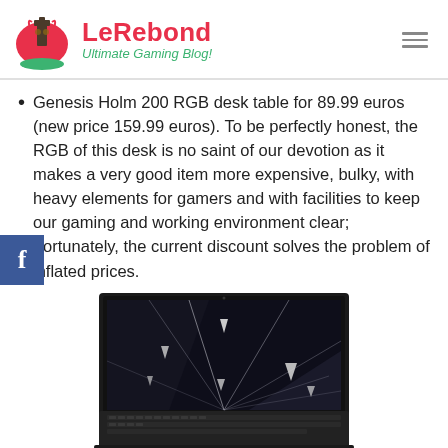LeRebond – Ultimate Gaming Blog!
Genesis Holm 200 RGB desk table for 89.99 euros (new price 159.99 euros). To be perfectly honest, the RGB of this desk is no saint of our devotion as it makes a very good item more expensive, bulky, with heavy elements for gamers and with facilities to keep our gaming and working environment clear; Fortunately, the current discount solves the problem of inflated prices.
[Figure (photo): A black gaming laptop shown from the front with its screen displaying a dark abstract geometric wallpaper with triangular light reflections, keyboard visible at the bottom, partially cropped.]